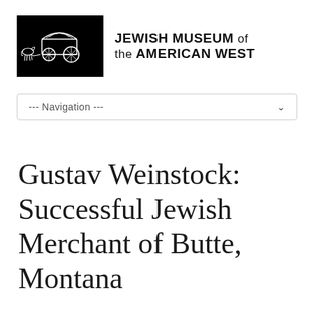[Figure (logo): Jewish Museum of the American West logo: black rectangle containing a white illustration of a horse-drawn covered wagon, with museum name text to the right reading 'JEWISH MUSEUM of the AMERICAN WEST']
--- Navigation ---
Gustav Weinstock: Successful Jewish Merchant of Butte, Montana